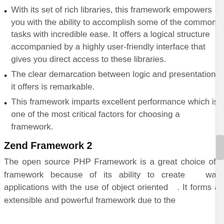With its set of rich libraries, this framework empowers you with the ability to accomplish some of the common tasks with incredible ease. It offers a logical structure accompanied by a highly user-friendly interface that gives you direct access to these libraries.
The clear demarcation between logic and presentation it offers is remarkable.
This framework imparts excellent performance which is one of the most critical factors for choosing a framework.
Zend Framework 2
The open source PHP Framework is a great choice of a framework because of its ability to createware applications with the use of object oriented. It forms an extensible and powerful framework due to the